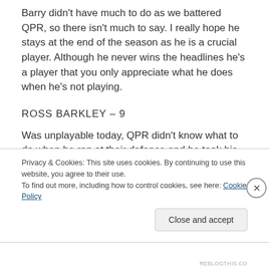Barry didn't have much to do as we battered QPR, so there isn't much to say. I really hope he stays at the end of the season as he is a crucial player. Although he never wins the headlines he's a player that you only appreciate what he does when he's not playing.
ROSS BARKLEY – 9
Was unplayable today, QPR didn't know what to do when he ran at their defence and he took his goal really well. I think next season he will be one of the best players in the league; his body movement is brilliant and today was taking it past players like they
Privacy & Cookies: This site uses cookies. By continuing to use this website, you agree to their use.
To find out more, including how to control cookies, see here: Cookie Policy
Close and accept